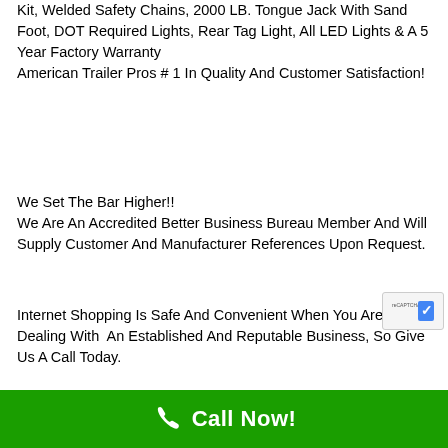Kit, Welded Safety Chains, 2000 LB. Tongue Jack With Sand Foot, DOT Required Lights, Rear Tag Light, All LED Lights & A 5 Year Factory Warranty
American Trailer Pros # 1 In Quality And Customer Satisfaction!
We Set The Bar Higher!!
We Are An Accredited Better Business Bureau Member And Will Supply Customer And Manufacturer References Upon Request.
Internet Shopping Is Safe And Convenient When You Are Dealing With An Established And Reputable Business, So Give Us A Call Today.
Call Now!